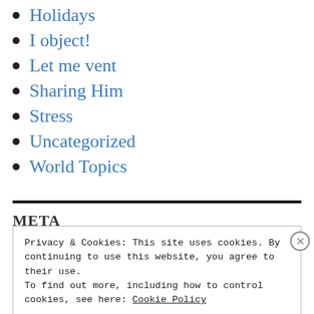Holidays
I object!
Let me vent
Sharing Him
Stress
Uncategorized
World Topics
META
Privacy & Cookies: This site uses cookies. By continuing to use this website, you agree to their use.
To find out more, including how to control cookies, see here: Cookie Policy
Close and accept